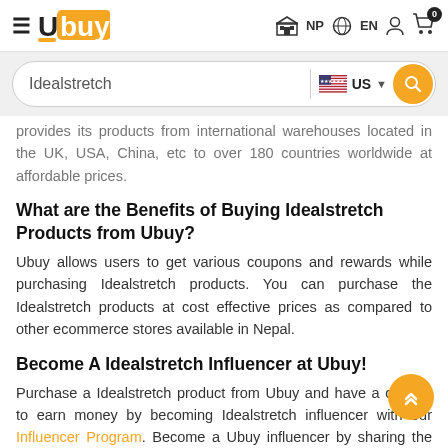Ubuy — NP EN, search: Idealstretch, US, cart 0
provides its products from international warehouses located in the UK, USA, China, etc to over 180 countries worldwide at affordable prices.
What are the Benefits of Buying Idealstretch Products from Ubuy?
Ubuy allows users to get various coupons and rewards while purchasing Idealstretch products. You can purchase the Idealstretch products at cost effective prices as compared to other ecommerce stores available in Nepal.
Become A Idealstretch Influencer at Ubuy!
Purchase a Idealstretch product from Ubuy and have a chance to earn money by becoming Idealstretch influencer with our Influencer Program. Become a Ubuy influencer by sharing the product image mentioning Ubuy on your social